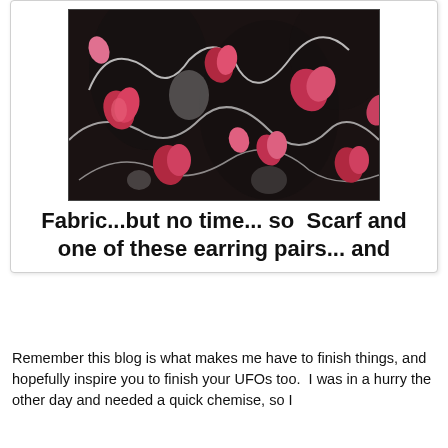[Figure (photo): Close-up photo of black fabric with a floral/heart pattern in red, pink, and white colors, fabric is gathered/ruffled]
Fabric...but no time... so  Scarf and one of these earring pairs... and
Remember this blog is what makes me have to finish things, and hopefully inspire you to finish your UFOs too.  I was in a hurry the other day and needed a quick chemise, so I